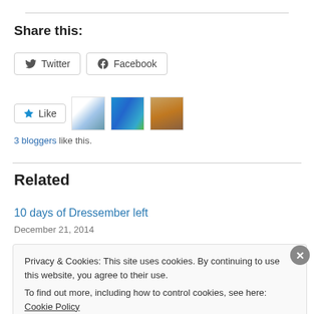Share this:
Twitter  Facebook
Like  [3 blogger thumbnails]
3 bloggers like this.
Related
10 days of Dressember left
December 21, 2014
Privacy & Cookies: This site uses cookies. By continuing to use this website, you agree to their use.
To find out more, including how to control cookies, see here: Cookie Policy
Close and accept